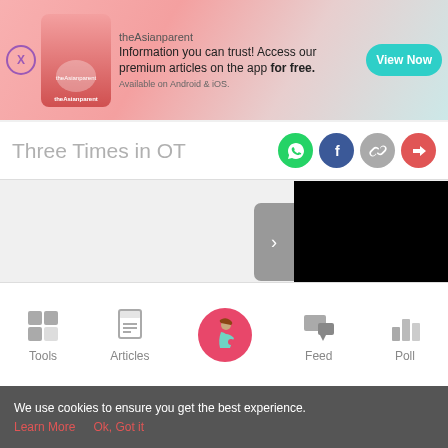[Figure (screenshot): theAsianparent app advertisement banner with pink gradient background, app logo, and 'View Now' teal button]
Three Times in OT
[Figure (screenshot): Social share icons: WhatsApp (green), Facebook (dark blue), Link (grey), Share (red)]
[Figure (screenshot): Black video/content box with grey sidebar arrow button showing right chevron]
[Figure (screenshot): Bottom navigation bar with Tools, Articles, Home (pink circle with pregnant woman icon), Feed, Poll]
We use cookies to ensure you get the best experience.
Learn More   Ok, Got it